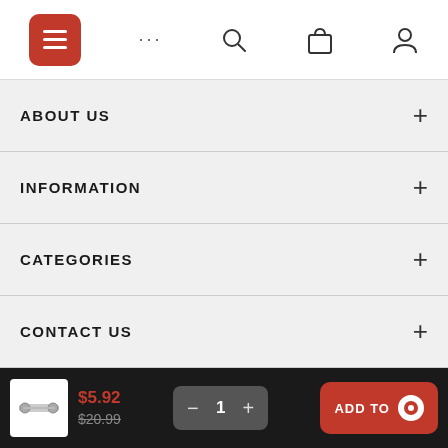Navigation bar with menu, dots, search, bag, and user icons
ABOUT US
INFORMATION
CATEGORIES
CONTACT US
BE IN TOUCH WITH US:
$5.92  $20.99  − 1 +  ADD TO CART